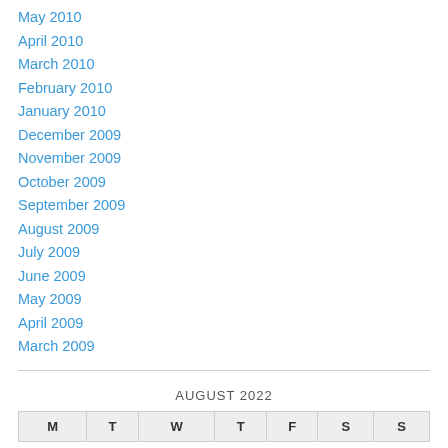May 2010
April 2010
March 2010
February 2010
January 2010
December 2009
November 2009
October 2009
September 2009
August 2009
July 2009
June 2009
May 2009
April 2009
March 2009
| M | T | W | T | F | S | S |
| --- | --- | --- | --- | --- | --- | --- |